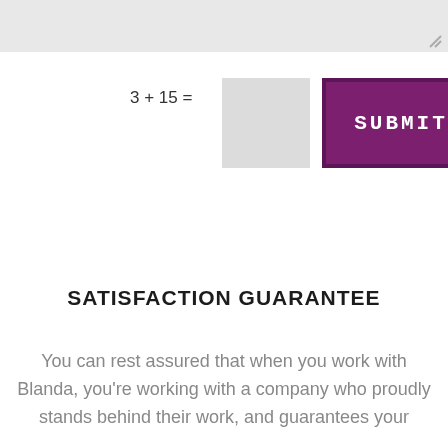[Figure (screenshot): Grey top bar section of a webpage, with a resize handle icon at the bottom right corner]
3 + 15 =
[Figure (screenshot): CAPTCHA input field (grey square) and a purple SUBMIT button]
SATISFACTION GUARANTEE
You can rest assured that when you work with Blanda, you're working with a company who proudly stands behind their work, and guarantees your